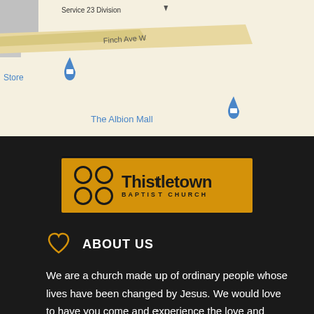[Figure (map): Google Maps screenshot showing intersection of Finch Ave W and Kipling Ave in Toronto. Labels visible: Service 23 Division, Ryna's Nails Finch & Kipling, Amway Distr[ibutors], Store, The Albion Mall, Canadian Tire, ARA Lighting and Sound Inc, Finch Ave W, Kipling Ave. Map pins shown for Store, The Albion Mall, and Canadian Tire.]
[Figure (logo): Thistletown Baptist Church logo on golden/amber background. Four circles in 2x2 grid on left, text 'Thistletown' in large bold and 'BAPTIST CHURCH' in spaced caps below.]
ABOUT US
We are a church made up of ordinary people whose lives have been changed by Jesus. We would love to have you come and experience the love and community